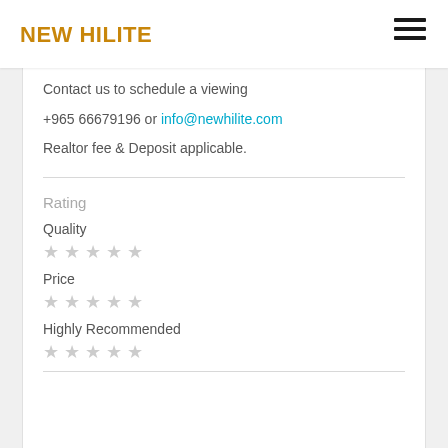NEW HILITE
Contact us to schedule a viewing
+965 66679196 or info@newhilite.com
Realtor fee & Deposit applicable.
Rating
Quality
★★★★★ (empty stars)
Price
★★★★★ (empty stars)
Highly Recommended
★★★★★ (empty stars)